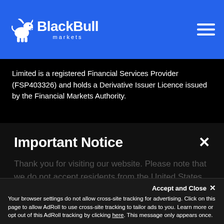[Figure (logo): BlackBull Markets logo — white bull icon on blue background with brand name 'BlackBull' and subtitle 'markets']
Limited is a registered Financial Services Provider (FSP403326) and holds a Derivative Issuer Licence issued by the Financial Markets Authority.
Important Notice
Thank you for visiting our website. Please note that we do not accept residents from the United States of America and Canada as clients. For any questions, please feel free to email us at
Accept and Close ✕ Your browser settings do not allow cross-site tracking for advertising. Click on this page to allow AdRoll to use cross-site tracking to tailor ads to you. Learn more or opt out of this AdRoll tracking by clicking here. This message only appears once.